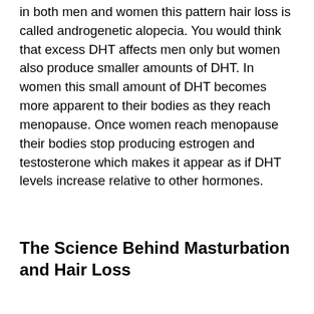in both men and women this pattern hair loss is called androgenetic alopecia. You would think that excess DHT affects men only but women also produce smaller amounts of DHT. In women this small amount of DHT becomes more apparent to their bodies as they reach menopause. Once women reach menopause their bodies stop producing estrogen and testosterone which makes it appear as if DHT levels increase relative to other hormones.
The Science Behind Masturbation and Hair Loss
Increased DHT
One study in men found that after masturbation, levels of testosterone increased 13.9% and DHT increased